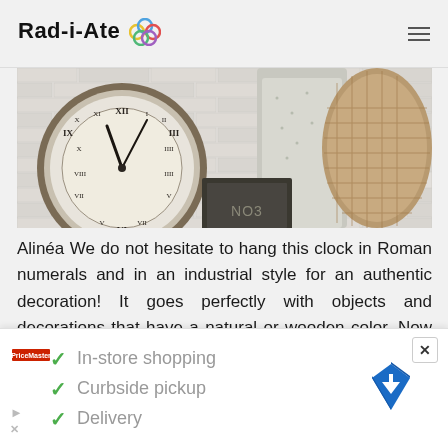Rad-i-Ate
[Figure (photo): Large wall clock with Roman numerals in industrial style, hung on a white brick wall, with fabric and a woven basket hanging nearby]
Alinéa We do not hesitate to hang this clock in Roman numerals and in an industrial style for an authentic decoration! It goes perfectly with objects and decorations that have a natural or wooden color. Now there is no longer any
[Figure (infographic): Advertisement banner showing checkmarks next to 'In-store shopping', 'Curbside pickup', and 'Delivery' with a map/navigation icon on the right and a small logo on the left]